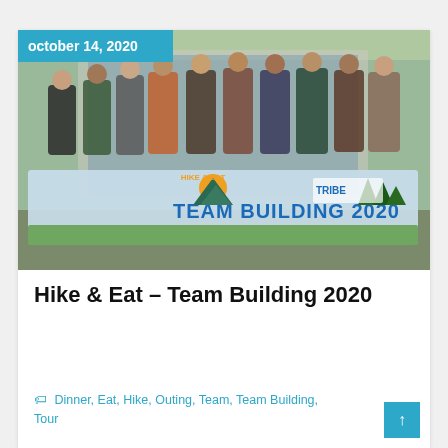[Figure (photo): Group photo of approximately 20 people standing outdoors in front of a building, holding a large banner that reads 'HIKE & EAT - TEAM BUILDING 2020' with a Tribe logo. The date badge 'october 14, 2020' appears in the top-left corner of the photo on a teal/blue background.]
Hike & Eat – Team Building 2020
Dinner, Eat, Hike, Outing, Team, Team Building, Tour